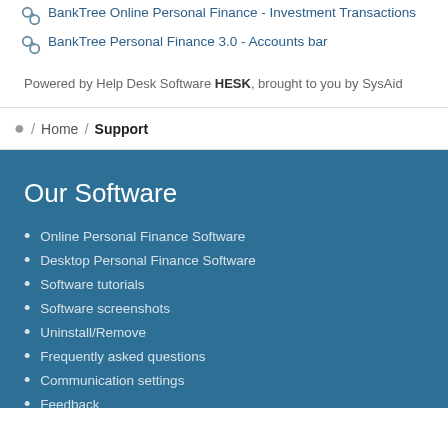BankTree Online Personal Finance - Investment Transactions
BankTree Personal Finance 3.0 - Accounts bar
Powered by Help Desk Software HESK, brought to you by SysAid
/ Home / Support
Our Software
Online Personal Finance Software
Desktop Personal Finance Software
Software tutorials
Software screenshots
Uninstall/Remove
Frequently asked questions
Communication settings
Feedback
Support
Forums